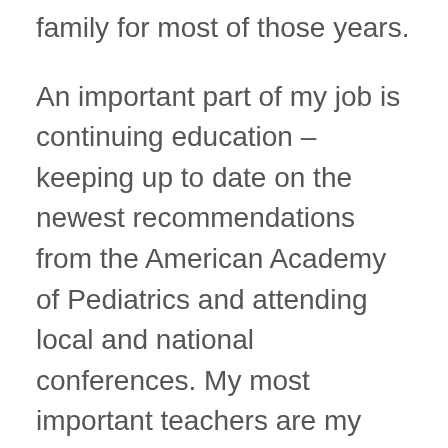family for most of those years.
An important part of my job is continuing education – keeping up to date on the newest recommendations from the American Academy of Pediatrics and attending local and national conferences. My most important teachers are my parents, my patients, and my own children, who humble me daily and help me understand the importance of what I do. I'm grateful for their trust in my care.
In my spare time, I love to travel, do yoga, do yoga when I travel, and most importantly spend time with my family.